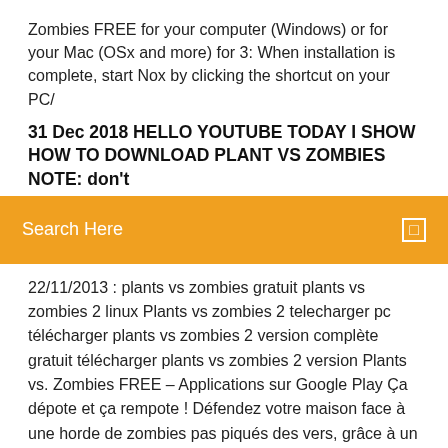Zombies FREE for your computer (Windows) or for your Mac (OSx and more) for 3: When installation is complete, start Nox by clicking the shortcut on your PC/
31 Dec 2018 HELLO YOUTUBE TODAY I SHOW HOW TO DOWNLOAD PLANT VS ZOMBIES NOTE: don't
Search Here
22/11/2013 : plants vs zombies gratuit plants vs zombies 2 linux Plants vs zombies 2 telecharger pc télécharger plants vs zombies 2 version complète gratuit télécharger plants vs zombies 2 version Plants vs. Zombies FREE – Applications sur Google Play Ça dépote et ça rempote ! Défendez votre maison face à une horde de zombies pas piqués des vers, grâce à un arsenal de 49 plantes zombicides : pisto-pois, noix, bombes cerises et autres ne seront pas de trop pour dessouder joyeusement 26 types de zombies différents, avant qu'ils ne viennent s'essuyer les pieds sur votre paillasson. Plant vs